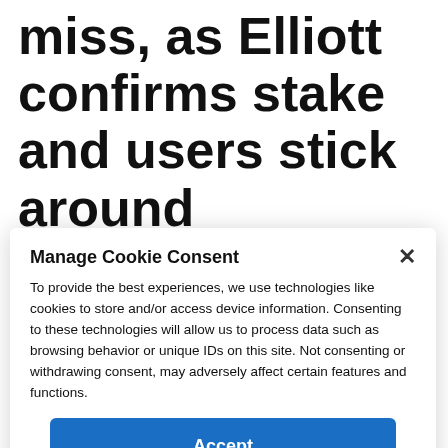miss, as Elliott confirms stake and users stick around
August 2, 2022 by admin
Pinterest revenue misses expectations for...
Manage Cookie Consent
To provide the best experiences, we use technologies like cookies to store and/or access device information. Consenting to these technologies will allow us to process data such as browsing behavior or unique IDs on this site. Not consenting or withdrawing consent, may adversely affect certain features and functions.
Accept
Cookie Policy